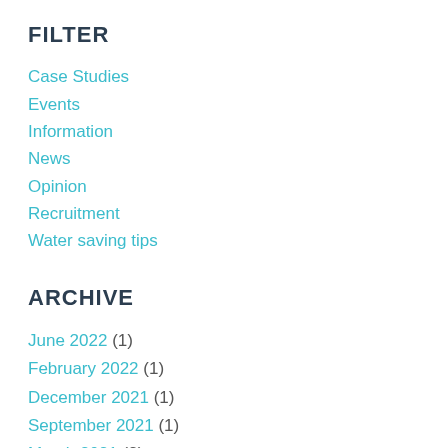FILTER
Case Studies
Events
Information
News
Opinion
Recruitment
Water saving tips
ARCHIVE
June 2022 (1)
February 2022 (1)
December 2021 (1)
September 2021 (1)
March 2021 (2)
February 2021 (1)